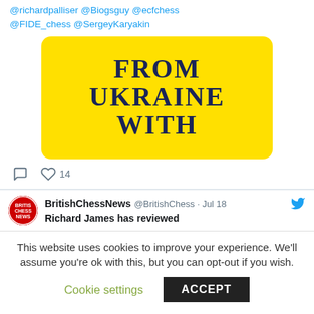@richardpalliser @Biogsguy @ecfchess @FIDE_chess @SergeyKaryakin
[Figure (illustration): Yellow rounded rectangle with dark navy text reading FROM UKRAINE WITH in large serif uppercase letters]
14 (likes)
BritishChessNews @BritishChess · Jul 18
Richard James has reviewed
This website uses cookies to improve your experience. We'll assume you're ok with this, but you can opt-out if you wish.
Cookie settings
ACCEPT